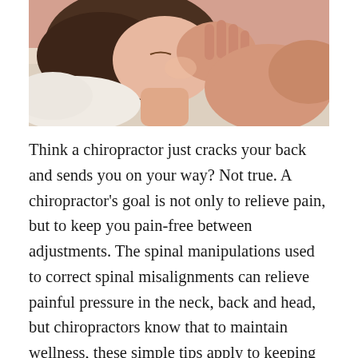[Figure (photo): A person lying down, appearing to be in pain or discomfort, holding their neck/face with their hand. The image shows a close-up of a person's face and hand against a soft background.]
Think a chiropractor just cracks your back and sends you on your way? Not true. A chiropractor's goal is not only to relieve pain, but to keep you pain-free between adjustments. The spinal manipulations used to correct spinal misalignments can relieve painful pressure in the neck, back and head, but chiropractors know that to maintain wellness, these simple tips apply to keeping the back and neck in alignment and muscles reducing nerve pain.